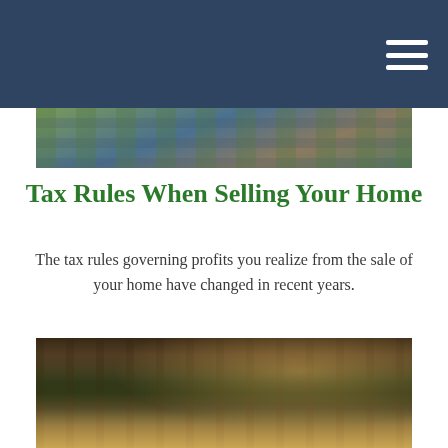[Figure (photo): Aerial view of urban neighborhood with streets and buildings, used as header banner image]
Tax Rules When Selling Your Home
The tax rules governing profits you realize from the sale of your home have changed in recent years.
[Figure (photo): Street-level photo of brownstone townhouses with trees in an urban neighborhood, warm golden light]